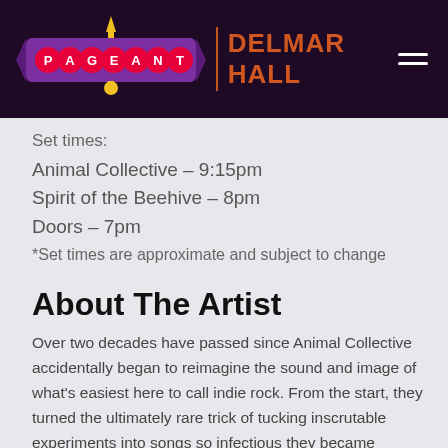[Figure (logo): The Pageant and Delmar Hall venue logos on dark purple background with hamburger menu icon]
Set times:
Animal Collective – 9:15pm
Spirit of the Beehive – 8pm
Doors – 7pm
*Set times are approximate and subject to change
About The Artist
Over two decades have passed since Animal Collective accidentally began to reimagine the sound and image of what's easiest here to call indie rock. From the start, they turned the ultimately rare trick of tucking inscrutable experiments into songs so infectious they became generational standards, empowering a new permissibility within a sometimes-stodgy scene. They helped make the